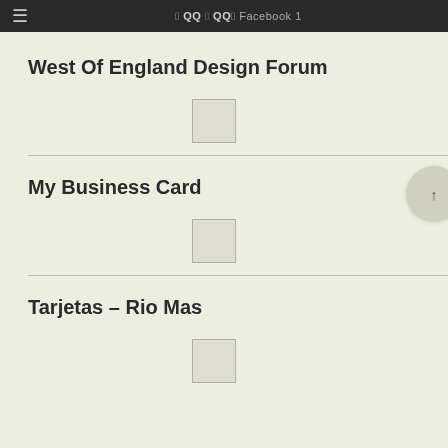≡ QQ QQ Facebook 1
West Of England Design Forum
[Figure (other): Checkbox/image placeholder square]
My Business Card
[Figure (other): Checkbox/image placeholder square]
Tarjetas – Rio Mas
[Figure (other): Checkbox/image placeholder square]